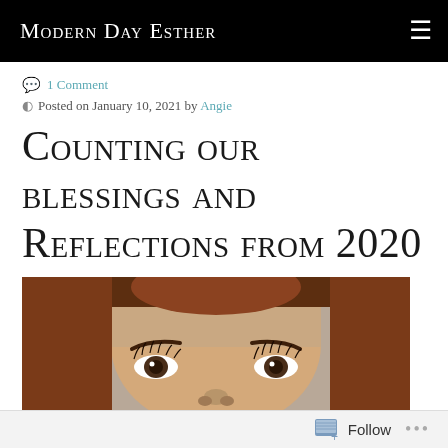Modern Day Esther
1 Comment
Posted on January 10, 2021 by Angie
Counting our blessings and Reflections from 2020
[Figure (photo): Close-up photo of a young woman with brown eyes and long eyelashes looking upward, with auburn hair, against a beige/tan background.]
Follow